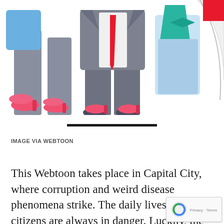[Figure (illustration): Manga/webtoon style illustration showing characters: pink/red high heels on the left, a character in a gray suit with a red tie in the center, and a character in blue and teal clothing on the right, with a white curved shape on the far right. A red square is in the top-right corner.]
IMAGE VIA WEBTOON
This Webtoon takes place in Capital City, where corruption and weird disease phenomena strike. The daily lives of its citizens are always in danger. Luckily, the Albright Clinic can help those in need...that is, for an extreme price. Join the doctor and his nurse as they explore the city's corruption, monsters and new diseases in every corner. Can the a cure?